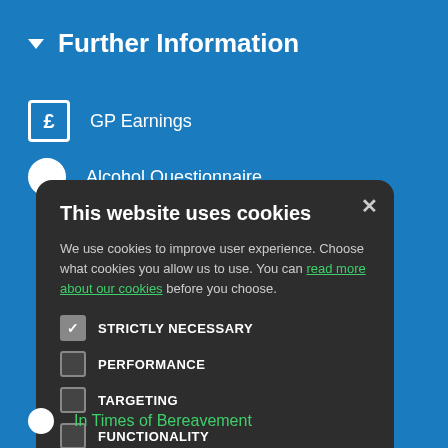▼ Further Information
£  GP Earnings
● Alcohol Questionnaire
This website uses cookies
We use cookies to improve user experience. Choose what cookies you allow us to use. You can read more about our cookies before you choose.
STRICTLY NECESSARY
PERFORMANCE
TARGETING
FUNCTIONALITY
ACCEPT ALL
DECLINE ALL
● In Times of Bereavement